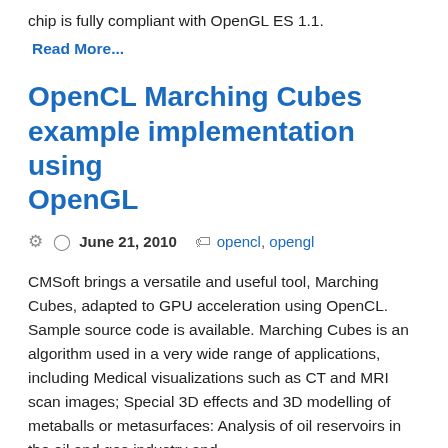chip is fully compliant with OpenGL ES 1.1.
Read More...
OpenCL Marching Cubes example implementation using OpenGL
June 21, 2010   opencl, opengl
CMSoft brings a versatile and useful tool, Marching Cubes, adapted to GPU acceleration using OpenCL. Sample source code is available. Marching Cubes is an algorithm used in a very wide range of applications, including Medical visualizations such as CT and MRI scan images; Special 3D effects and 3D modelling of metaballs or metasurfaces: Analysis of oil reservoirs in the oil and gas industry and